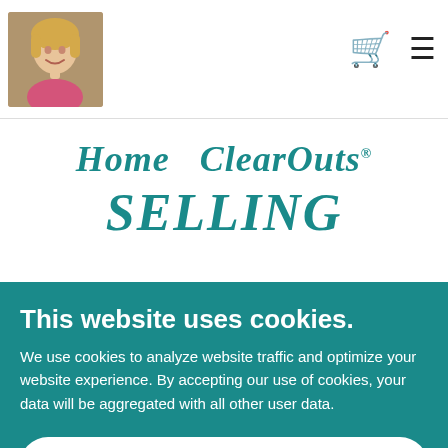[Figure (photo): Profile photo of a smiling woman with blonde hair in the top-left header area]
Home  ClearOuts  SELLING
SELLING THESE ITEMS NOW!!!
This website uses cookies.
We use cookies to analyze website traffic and optimize your website experience. By accepting our use of cookies, your data will be aggregated with all other user data.
ACCEPT